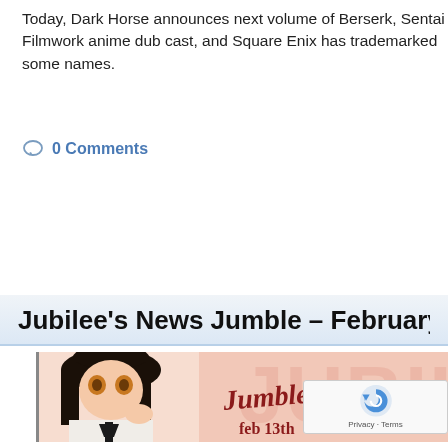Today, Dark Horse announces next volume of Berserk, Sentai Filmworks anime dub cast, and Square Enix has trademarked some names.
0 Comments
Jubilee's News Jumble – February 6th – 12t…
[Figure (illustration): Anime-style banner image showing a dark-haired female character in a white outfit with a black ribbon, with decorative text reading 'Jumble' and 'Feb 13th' on a pink/salmon background.]
Hello once again Fanatics! It is I, Jubilee, back for yet another News Jumble, home of all the week's best news stories! Being a w... to rip off the iStalk opening, as I have no idea on how to ope... welcome to the News Jumble, where I don't just report the news, I wa...